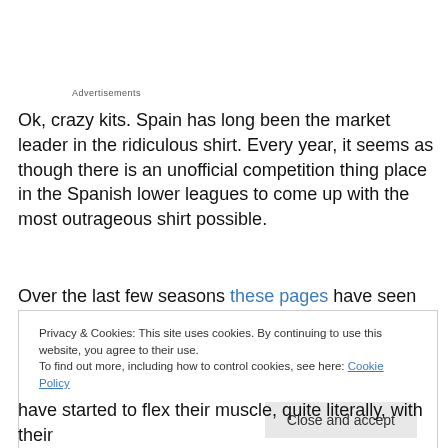Advertisements
Ok, crazy kits. Spain has long been the market leader in the ridiculous shirt. Every year, it seems as though there is an unofficial competition thing place in the Spanish lower leagues to come up with the most outrageous shirt possible.
Over the last few seasons these pages have seen 'the
Privacy & Cookies: This site uses cookies. By continuing to use this website, you agree to their use.
To find out more, including how to control cookies, see here: Cookie Policy
have started to flex their muscle, quite literally, with their